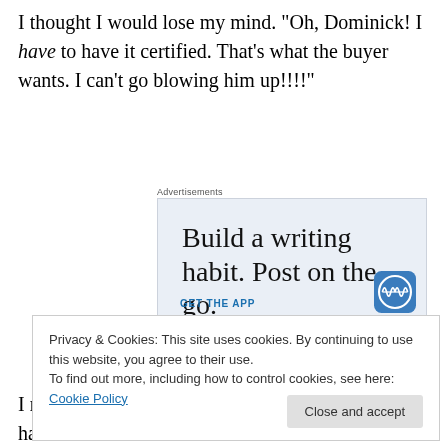I thought I would lose my mind.  "Oh, Dominick! I have to have it certified.  That's what the buyer wants.  I can't go blowing him up!!!!"
[Figure (screenshot): Advertisement banner with text 'Build a writing habit. Post on the go.' and a 'GET THE APP' call to action with WordPress logo, on a light blue-gray background. Label 'Advertisements' shown above.]
Privacy & Cookies: This site uses cookies. By continuing to use this website, you agree to their use.
To find out more, including how to control cookies, see here: Cookie Policy
I resisted the urge to curse out loud, swallowed hard and